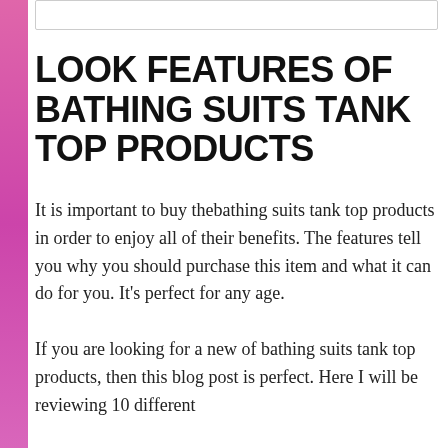LOOK FEATURES OF BATHING SUITS TANK TOP PRODUCTS
It is important to buy thebathing suits tank top products in order to enjoy all of their benefits. The features tell you why you should purchase this item and what it can do for you. It's perfect for any age.
If you are looking for a new of bathing suits tank top products, then this blog post is perfect. Here I will be reviewing 10 different